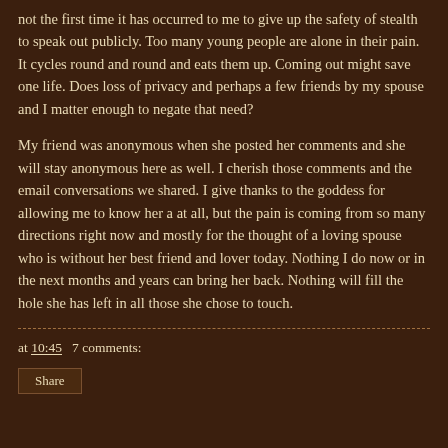not the first time it has occurred to me to give up the safety of stealth to speak out publicly. Too many young people are alone in their pain. It cycles round and round and eats them up. Coming out might save one life. Does loss of privacy and perhaps a few friends by my spouse and I matter enough to negate that need?
My friend was anonymous when she posted her comments and she will stay anonymous here as well. I cherish those comments and the email conversations we shared. I give thanks to the goddess for allowing me to know her a at all, but the pain is coming from so many directions right now and mostly for the thought of a loving spouse who is without her best friend and lover today. Nothing I do now or in the next months and years can bring her back. Nothing will fill the hole she has left in all those she chose to touch.
at 10:45   7 comments: